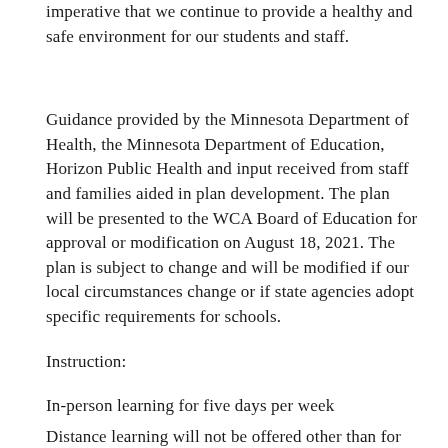imperative that we continue to provide a healthy and safe environment for our students and staff.
Guidance provided by the Minnesota Department of Health, the Minnesota Department of Education, Horizon Public Health and input received from staff and families aided in plan development.  The plan will be presented to the WCA Board of Education for approval or modification on August 18, 2021.  The plan is subject to change and will be modified if our local circumstances change or if state agencies adopt specific requirements for schools.
Instruction:
In-person learning for five days per week
Distance learning will not be offered other than for inclement weather days